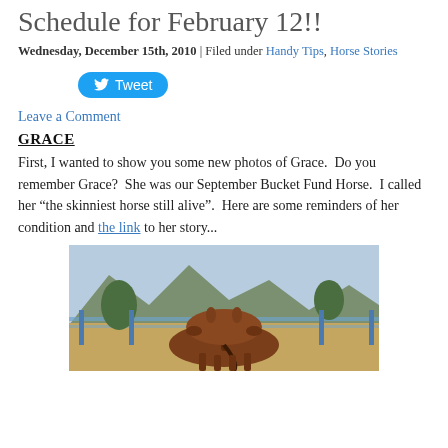Schedule for February 12!!
Wednesday, December 15th, 2010 | Filed under Handy Tips, Horse Stories
[Figure (other): Twitter Tweet button (blue pill-shaped button with bird icon and 'Tweet' text)]
Leave a Comment
GRACE
First, I wanted to show you some new photos of Grace.  Do you remember Grace?  She was our September Bucket Fund Horse.  I called her “the skinniest horse still alive”.  Here are some reminders of her condition and the link to her story...
[Figure (photo): Photo of a thin brown horse viewed from behind, standing in a pen with mountains and trees visible in the background.]